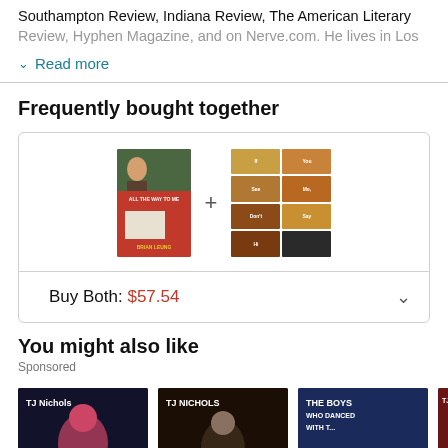Southampton Review, Indiana Review, The American Literary Review, Hyphen Magazine, and on Nerve.com. He lives in Los
Read more
Frequently bought together
[Figure (illustration): Two book covers shown side by side with a plus sign between them, representing a bundle. Left: a red/orange book cover. Right: a grid of 8 small colored tiles.]
Buy Both: $57.54
You might also like
Sponsored
[Figure (illustration): Row of four book covers by TJ Nichols and 'The Boys Who Danced With T...']